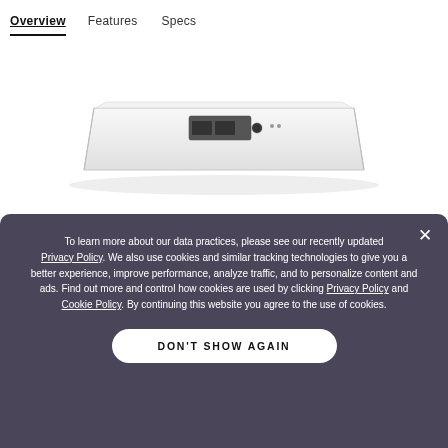Overview   Features   Specs
[Figure (photo): Bottom/back view of a white electronic device (likely a router or access point) showing ports and connectors on its base, against a white background.]
To learn more about our data practices, please see our recently updated Privacy Policy. We also use cookies and similar tracking technologies to give you a better experience, improve performance, analyze traffic, and to personalize content and ads. Find out more and control how cookies are used by clicking Privacy Policy and Cookie Policy. By continuing this website you agree to the use of cookies.
DON'T SHOW AGAIN